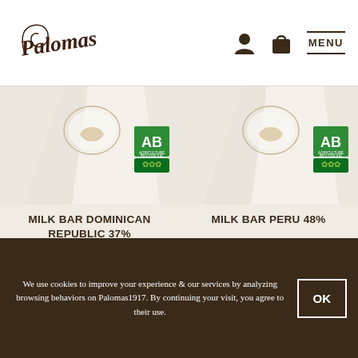Palomas — navigation header with logo, user icon, bag icon, and MENU
[Figure (photo): Milk Bar Dominican Republic 37% product packaging with AB Agriculture Biologique certification badge]
MILK BAR DOMINICAN REPUBLIC 37%
Organic milk chocolate bar with 37% cocoa.
90g ▪ 7.00€
[Figure (photo): Milk Bar Peru 48% product packaging with AB Agriculture Biologique certification badge]
MILK BAR PERU 48%
Organic Milk Chocolate Bar With 48% Cocoa.
90g ▪ 7.00€
We use cookies to improve your experience & our services by analyzing browsing behaviors on Palomas1917. By continuing your visit, you agree to their use.